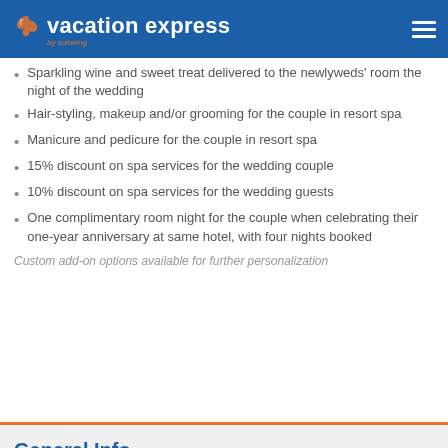vacation express by sunwing
Sparkling wine and sweet treat delivered to the newlyweds' room the night of the wedding
Hair-styling, makeup and/or grooming for the couple in resort spa
Manicure and pedicure for the couple in resort spa
15% discount on spa services for the wedding couple
10% discount on spa services for the wedding guests
One complimentary room night for the couple when celebrating their one-year anniversary at same hotel, with four nights booked
Custom add-on options available for further personalization
General Info
Manage Your Booking